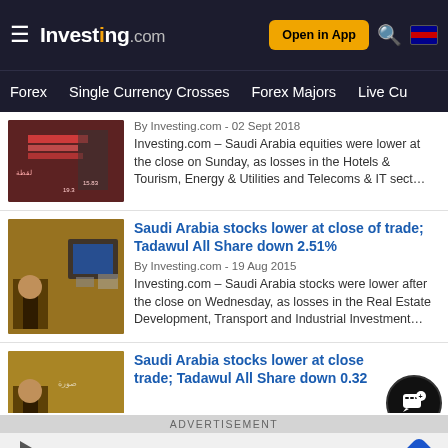Investing.com — Open in App
Forex | Single Currency Crosses | Forex Majors | Live Cu
By Investing.com - 02 Sept 2018
Investing.com – Saudi Arabia equities were lower at the close on Sunday, as losses in the Hotels & Tourism, Energy & Utilities and Telecoms & IT sect…
Saudi Arabia stocks lower at close of trade; Tadawul All Share down 2.51%
By Investing.com - 19 Aug 2015
Investing.com – Saudi Arabia stocks were lower after the close on Wednesday, as losses in the Real Estate Development, Transport and Industrial Investment…
Saudi Arabia stocks lower at close of trade; Tadawul All Share down 0.32
ADVERTISEMENT
Paying Less Fees Means More Crypto In Your Wallet!